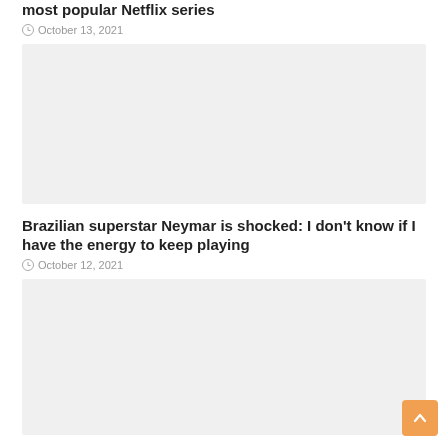most popular Netflix series
October 13, 2021
[Figure (photo): Image placeholder for Netflix series article]
Brazilian superstar Neymar is shocked: I don't know if I have the energy to keep playing
October 12, 2021
[Figure (photo): Image placeholder for Neymar article]